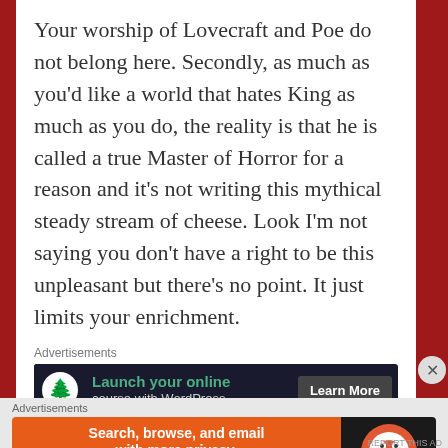Your worship of Lovecraft and Poe do not belong here. Secondly, as much as you'd like a world that hates King as much as you do, the reality is that he is called a true Master of Horror for a reason and it's not writing this mythical steady stream of cheese. Look I'm not saying you don't have a right to be this unpleasant but there's no point. It just limits your enrichment.
★ Liked by 1 person
[Figure (screenshot): Advertisement banner: dark background with tree icon, green text 'Launch your online course with WordPress', Learn More button]
[Figure (screenshot): Advertisement banner: orange section with 'Search, browse, and email with more privacy. All in One Free App' and DuckDuckGo logo on dark right side]